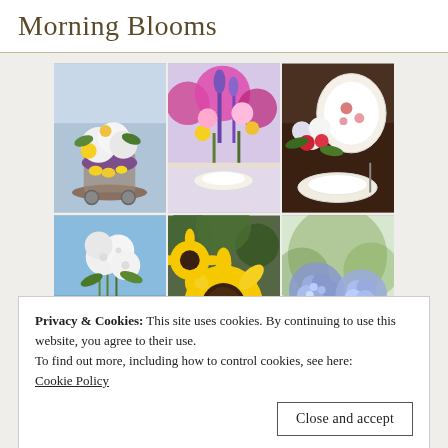Morning Blooms
[Figure (photo): A 3x2 grid of six floral arrangement photos: top-left shows white and yellow flowers with lemons in a silver cart; top-middle shows purple, pink and yellow flowers on a table; top-right shows plates and red/white roses on a dark wood table; bottom-left shows white pom-pom flowers in a vase against blue sky; bottom-middle shows bright yellow sunflowers; bottom-right shows blue hydrangeas with lemon slices.]
Privacy & Cookies: This site uses cookies. By continuing to use this website, you agree to their use.
To find out more, including how to control cookies, see here:
Cookie Policy
Close and accept
[Figure (photo): Partial view of three more floral/food photos at bottom of page, cropped.]